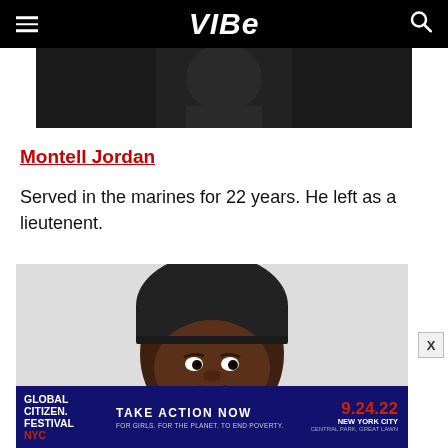VIBE
[Figure (photo): Partial view of a person in dark clothing against a dark background, cropped at top]
Montell Jordan
Served in the marines for 22 years. He left as a lieutenent.
[Figure (photo): Close-up portrait of a Black man wearing a dark knit beanie hat, looking slightly upward, against a light background]
[Figure (infographic): Global Citizen Festival NYC advertisement banner: TAKE ACTION NOW 9.24.22 NEW YORK CITY CENTRAL PARK, GREAT LAWN FOR GIRLS. FOR THE PLANET. TO END POVERTY.]